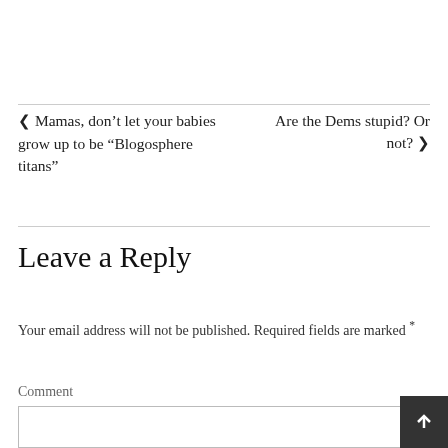❮ Mamas, don’t let your babies grow up to be “Blogosphere titans”
Are the Dems stupid? Or not? ❯
Leave a Reply
Your email address will not be published. Required fields are marked *
Comment